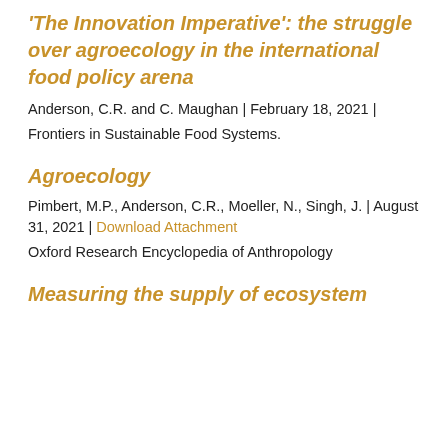'The Innovation Imperative': the struggle over agroecology in the international food policy arena
Anderson, C.R. and C. Maughan | February 18, 2021 |
Frontiers in Sustainable Food Systems.
Agroecology
Pimbert, M.P., Anderson, C.R., Moeller, N., Singh, J. | August 31, 2021 | Download Attachment
Oxford Research Encyclopedia of Anthropology
Measuring the supply of ecosystem